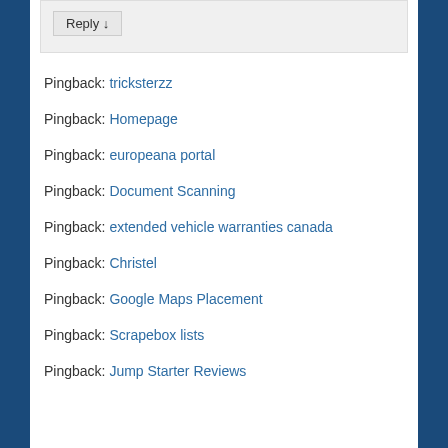Reply ↓
Pingback: tricksterzz
Pingback: Homepage
Pingback: europeana portal
Pingback: Document Scanning
Pingback: extended vehicle warranties canada
Pingback: Christel
Pingback: Google Maps Placement
Pingback: Scrapebox lists
Pingback: Jump Starter Reviews